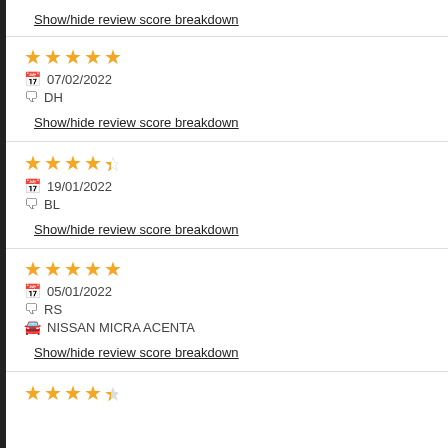Show/hide review score breakdown
★★★★★ 07/02/2022 DH
Show/hide review score breakdown
★★★★½ 19/01/2022 BL
Show/hide review score breakdown
★★★★★ 05/01/2022 RS NISSAN MICRA ACENTA
Show/hide review score breakdown
★★★★½ (partial, cut off)